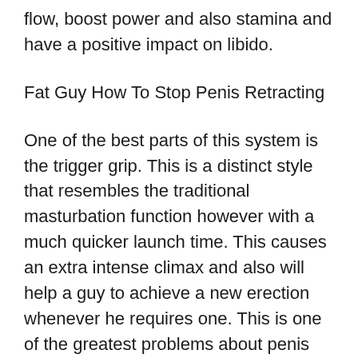flow, boost power and also stamina and have a positive impact on libido.
Fat Guy How To Stop Penis Retracting
One of the best parts of this system is the trigger grip. This is a distinct style that resembles the traditional masturbation function however with a much quicker launch time. This causes an extra intense climax and also will help a guy to achieve a new erection whenever he requires one. This is one of the greatest problems about penis pumps. Nonetheless, with the trigger hold, you have the ability to control exactly how strong your erection is and this means that you are most likely to achieve an erection each time.